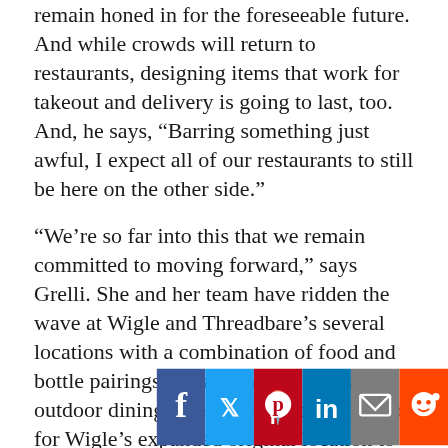remain honed in for the foreseeable future. And while crowds will return to restaurants, designing items that work for takeout and delivery is going to last, too. And, he says, “Barring something just awful, I expect all of our restaurants to still be here on the other side.”
“We’re so far into this that we remain committed to moving forward,” says Grelli. She and her team have ridden the wave at Wigle and Threadbare’s several locations with a combination of food and bottle pairings for takeaway menus and outdoor dining when it was practical. Look for Wigle’s expanded original location to finally get booming once things return to normalcy — the new restaurant, tasting room, bottle shop, event space and mini-museum doubled its
[Figure (infographic): Social media sharing buttons: Facebook (dark blue), Twitter (light blue), Pinterest (red), LinkedIn (dark blue), Email (gray), Reddit (orange)]